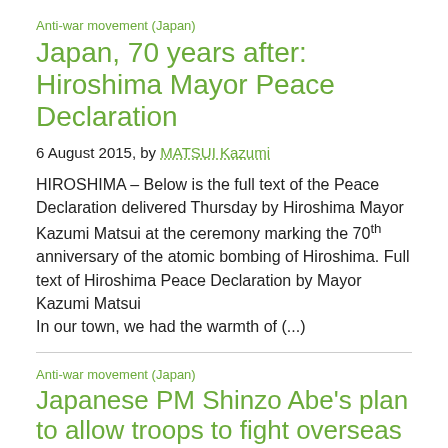Anti-war movement (Japan)
Japan, 70 years after: Hiroshima Mayor Peace Declaration
6 August 2015, by MATSUI Kazumi
HIROSHIMA – Below is the full text of the Peace Declaration delivered Thursday by Hiroshima Mayor Kazumi Matsui at the ceremony marking the 70th anniversary of the atomic bombing of Hiroshima. Full text of Hiroshima Peace Declaration by Mayor Kazumi Matsui
In our town, we had the warmth of (...)
Anti-war movement (Japan)
Japanese PM Shinzo Abe's plan to allow troops to fight overseas angers voters